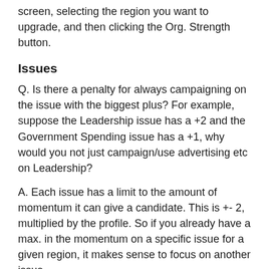screen, selecting the region you want to upgrade, and then clicking the Org. Strength button.
Issues
Q. Is there a penalty for always campaigning on the issue with the biggest plus? For example, suppose the Leadership issue has a +2 and the Government Spending issue has a +1, why would you not just campaign/use advertising etc on Leadership?
A. Each issue has a limit to the amount of momentum it can give a candidate. This is +- 2, multiplied by the profile. So if you already have a max. in the momentum on a specific issue for a given region, it makes sense to focus on another issue.